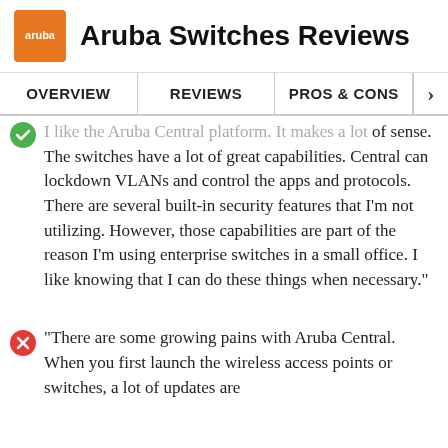Aruba Switches Reviews
OVERVIEW | REVIEWS | PROS & CONS
I like the Aruba Central platform. It makes a lot of sense. The switches have a lot of great capabilities. Central can lockdown VLANs and control the apps and protocols. There are several built-in security features that I'm not utilizing. However, those capabilities are part of the reason I'm using enterprise switches in a small office. I like knowing that I can do these things when necessary."
"There are some growing pains with Aruba Central. When you first launch the wireless access points or switches, a lot of updates are